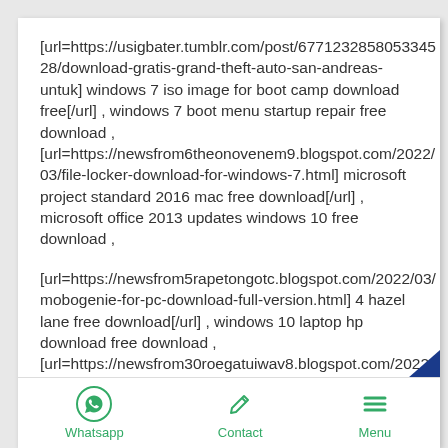[url=https://usigbater.tumblr.com/post/677123285805334528/download-gratis-grand-theft-auto-san-andreas-untuk] windows 7 iso image for boot camp download free[/url] , windows 7 boot menu startup repair free download , [url=https://newsfrom6theonovenem9.blogspot.com/2022/03/file-locker-download-for-windows-7.html] microsoft project standard 2016 mac free download[/url] , microsoft office 2013 updates windows 10 free download ,
[url=https://newsfrom5rapetongotc.blogspot.com/2022/03/mobogenie-for-pc-download-full-version.html] 4 hazel lane free download[/url] , windows 10 laptop hp download free download , [url=https://newsfrom30roegatuiwav8.blogspot.com/2022/03/download-open-office-2007-for-windows-8.html] acdsee ultimate 10 demo free download[/url] , keyboard driver windows 10 64 bit free download free download ,
https://newsfrom4niafissigpe38.blogspot.com/2022/03/download-emulador-super-nintendo.html , windows 7
Whatsapp   Contact   Menu